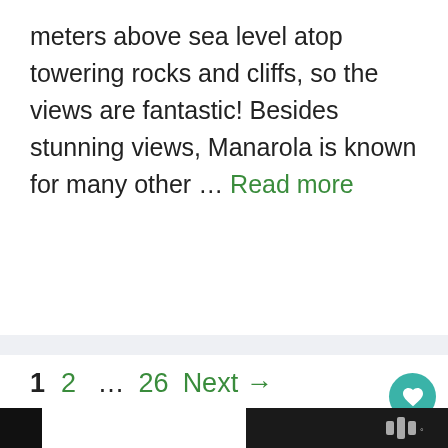meters above sea level atop towering rocks and cliffs, so the views are fantastic! Besides stunning views, Manarola is known for many other … Read more
1  2  …  26  Next →
About Me